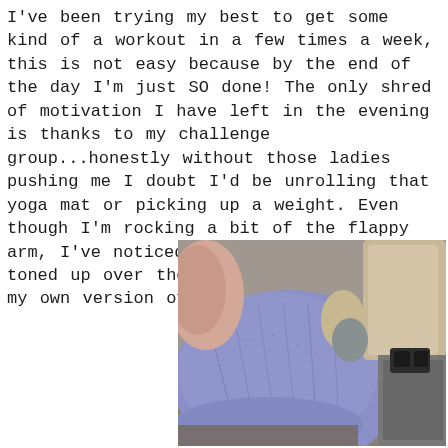I've been trying my best to get some kind of a workout in a few times a week, this is not easy because by the end of the day I'm just SO done! The only shred of motivation I have left in the evening is thanks to my challenge group...honestly without those ladies pushing me I doubt I'd be unrolling that yoga mat or picking up a weight. Even though I'm rocking a bit of the flappy arm, I've noticed my arms have definitely toned up over the past few weeks. It's my own version of toned, but I'm proud!
[Figure (photo): Close-up photo of a person's lower body wearing purple/lavender heathered athletic leggings, lying or sitting on what appears to be a couch or cushioned surface with beige and gray upholstery visible in the background.]